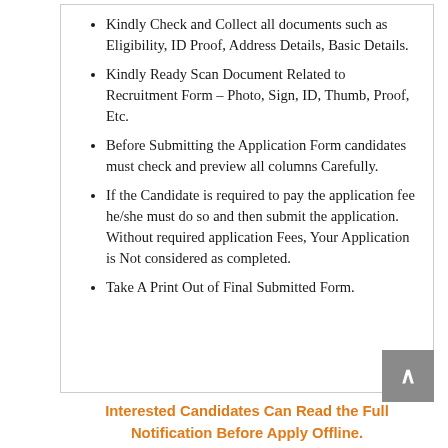Kindly Check and Collect all documents such as Eligibility, ID Proof, Address Details, Basic Details.
Kindly Ready Scan Document Related to Recruitment Form – Photo, Sign, ID, Thumb, Proof, Etc.
Before Submitting the Application Form candidates must check and preview all columns Carefully.
If the Candidate is required to pay the application fee he/she must do so and then submit the application. Without required application Fees, Your Application is Not considered as completed.
Take A Print Out of Final Submitted Form.
Interested Candidates Can Read the Full Notification Before Apply Offline.